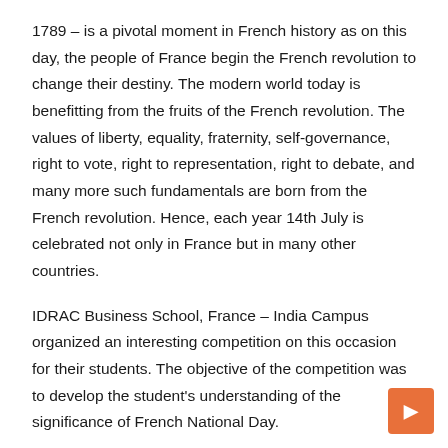1789 – is a pivotal moment in French history as on this day, the people of France begin the French revolution to change their destiny. The modern world today is benefitting from the fruits of the French revolution. The values of liberty, equality, fraternity, self-governance, right to vote, right to representation, right to debate, and many more such fundamentals are born from the French revolution. Hence, each year 14th July is celebrated not only in France but in many other countries.
IDRAC Business School, France – India Campus organized an interesting competition on this occasion for their students. The objective of the competition was to develop the student's understanding of the significance of French National Day.